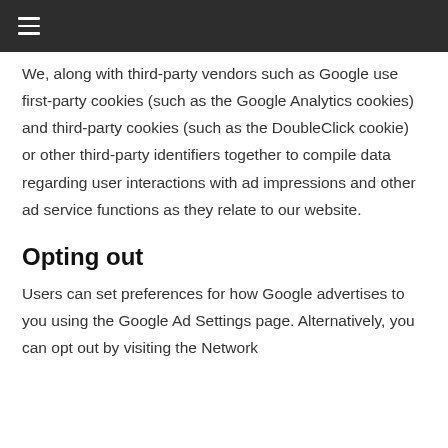We, along with third-party vendors such as Google use first-party cookies (such as the Google Analytics cookies) and third-party cookies (such as the DoubleClick cookie) or other third-party identifiers together to compile data regarding user interactions with ad impressions and other ad service functions as they relate to our website.
Opting out
Users can set preferences for how Google advertises to you using the Google Ad Settings page. Alternatively, you can opt out by visiting the Network